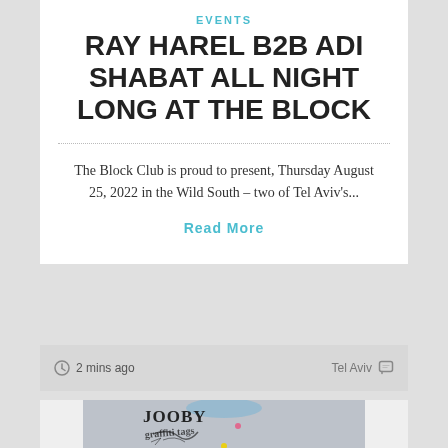EVENTS
RAY HAREL B2B ADI SHABAT ALL NIGHT LONG AT THE BLOCK
The Block Club is proud to present, Thursday August 25, 2022 in the Wild South – two of Tel Aviv's...
Read More
2 mins ago
Tel Aviv
[Figure (photo): Graffiti art image with gothic/blackletter text and scrawled tags on a grey surface]